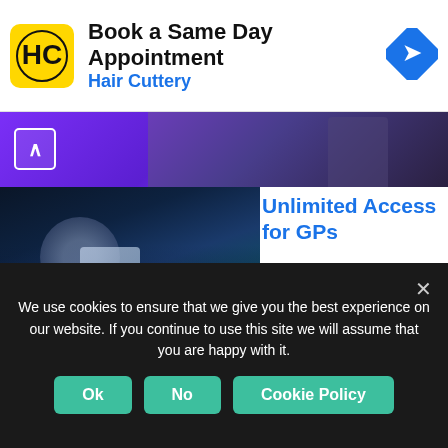[Figure (screenshot): Hair Cuttery ad banner with logo, 'Book a Same Day Appointment' text, and navigation icon]
[Figure (screenshot): Partial purple/dark banner with chevron up icon and person figure]
[Figure (screenshot): Doctor holding phone with stethoscope - Unlimited Access for GPs ad from Primary Care Notebook]
Unlimited Access for GPs
Ad  Primary Care Notebook
[Figure (screenshot): Phone/card image - Lead Routing Built For HubSpot ad]
Lead Routing Built For HubSpot
We use cookies to ensure that we give you the best experience on our website. If you continue to use this site we will assume that you are happy with it.